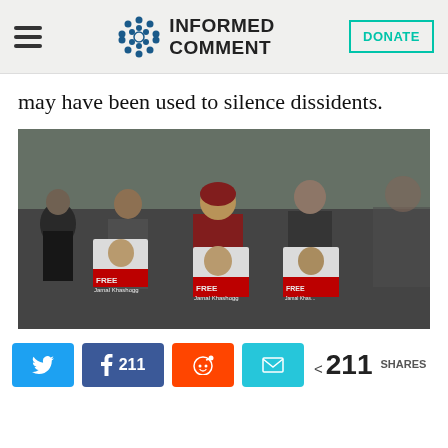Informed Comment — DONATE
may have been used to silence dissidents.
[Figure (photo): Protest crowd holding signs reading 'FREE Jamal Khashoggi' with a woman in a hijab prominently in the center speaking or chanting.]
Twitter share, Facebook 211 shares, Reddit share, Email share — < 211 SHARES